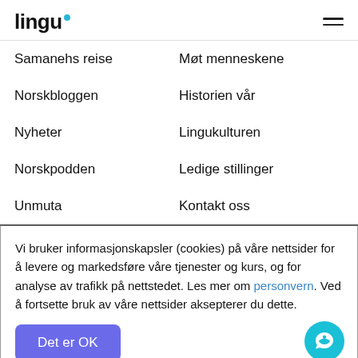lingu
Samanehs reise
Møt menneskene
Norskbloggen
Historien vår
Nyheter
Lingukulturen
Norskpodden
Ledige stillinger
Unmuta
Kontakt oss
Vi bruker informasjonskapsler (cookies) på våre nettsider for å levere og markedsføre våre tjenester og kurs, og for analyse av trafikk på nettstedet. Les mer om personvern. Ved å fortsette bruk av våre nettsider aksepterer du dette.
Det er OK